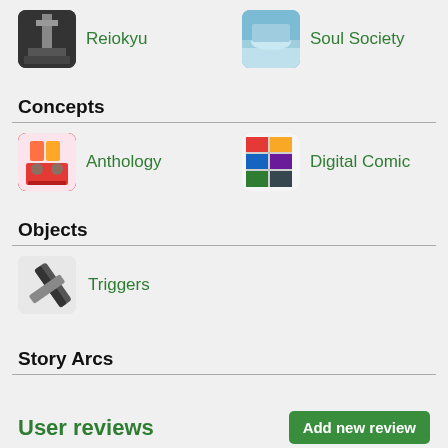Reiokyu
Soul Society
Concepts
Anthology
Digital Comic
Objects
Triggers
Story Arcs
User reviews
Add new review